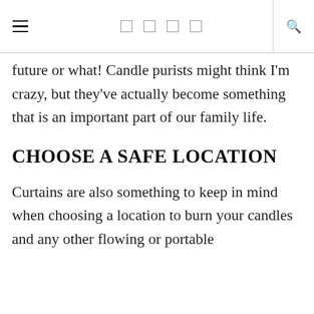≡  □ □ □ □  🔍
future or what! Candle purists might think I'm crazy, but they've actually become something that is an important part of our family life.
CHOOSE A SAFE LOCATION
Curtains are also something to keep in mind when choosing a location to burn your candles and any other flowing or portable